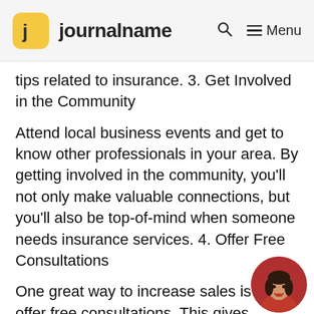journalname
tips related to insurance. 3. Get Involved in the Community
Attend local business events and get to know other professionals in your area. By getting involved in the community, you’ll not only make valuable connections, but you’ll also be top-of-mind when someone needs insurance services. 4. Offer Free Consultations
One great way to increase sales is to offer free consultations. This gives potential clients a chance to get to know you and your business without any pressure to buy. 5. R... a Promotion
[Figure (photo): Circular avatar photo of a woman with dark hair and red lipstick, wearing a red top, positioned at the bottom-right corner of the page.]